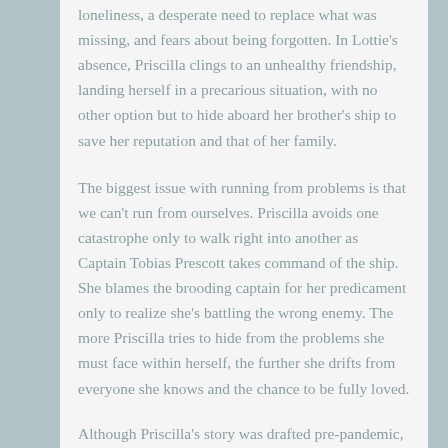loneliness, a desperate need to replace what was missing, and fears about being forgotten. In Lottie's absence, Priscilla clings to an unhealthy friendship, landing herself in a precarious situation, with no other option but to hide aboard her brother's ship to save her reputation and that of her family.
The biggest issue with running from problems is that we can't run from ourselves. Priscilla avoids one catastrophe only to walk right into another as Captain Tobias Prescott takes command of the ship. She blames the brooding captain for her predicament only to realize she's battling the wrong enemy. The more Priscilla tries to hide from the problems she must face within herself, the further she drifts from everyone she knows and the chance to be fully loved.
Although Priscilla's story was drafted pre-pandemic, her...